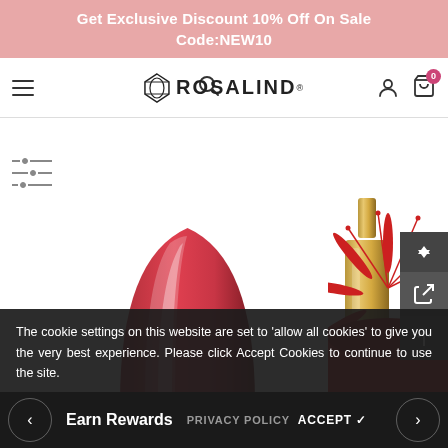Get Exclusive Discount 10% Off On Sale Code:NEW10
[Figure (screenshot): Rosalind brand navigation bar with hamburger menu, search icon, logo, user and cart icons]
[Figure (illustration): Filter/sort icon with three horizontal sliders]
[Figure (photo): Rosalind nail gel product display: red nail swatch on the left, gold nail polish bottle in center, red spider lily flower on the right]
The cookie settings on this website are set to 'allow all cookies' to give you the very best experience. Please click Accept Cookies to continue to use the site.
Earn Rewards  PRIVACY POLICY  ACCEPT ✔